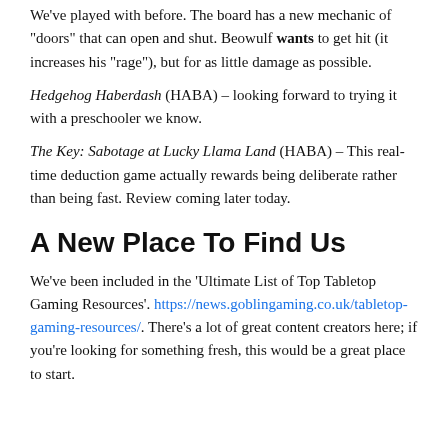We've played with before. The board has a new mechanic of "doors" that can open and shut. Beowulf wants to get hit (it increases his "rage"), but for as little damage as possible.
Hedgehog Haberdash (HABA) – looking forward to trying it with a preschooler we know.
The Key: Sabotage at Lucky Llama Land (HABA) – This real-time deduction game actually rewards being deliberate rather than being fast. Review coming later today.
A New Place To Find Us
We've been included in the 'Ultimate List of Top Tabletop Gaming Resources'. https://news.goblingaming.co.uk/tabletop-gaming-resources/. There's a lot of great content creators here; if you're looking for something fresh, this would be a great place to start.